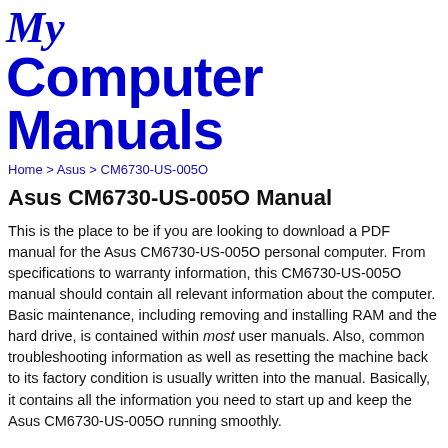[Figure (logo): My Computer Manuals logo in blue italic/bold text]
Home > Asus > CM6730-US-005O
Asus CM6730-US-005O Manual
This is the place to be if you are looking to download a PDF manual for the Asus CM6730-US-005O personal computer. From specifications to warranty information, this CM6730-US-005O manual should contain all relevant information about the computer. Basic maintenance, including removing and installing RAM and the hard drive, is contained within most user manuals. Also, common troubleshooting information as well as resetting the machine back to its factory condition is usually written into the manual. Basically, it contains all the information you need to start up and keep the Asus CM6730-US-005O running smoothly.
Check to make sure the brand and model match the one listed below: